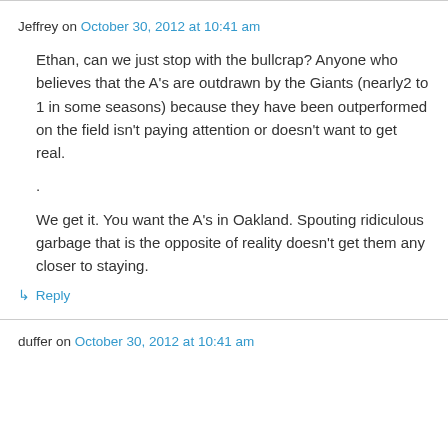Jeffrey on October 30, 2012 at 10:41 am
Ethan, can we just stop with the bullcrap? Anyone who believes that the A's are outdrawn by the Giants (nearly2 to 1 in some seasons) because they have been outperformed on the field isn't paying attention or doesn't want to get real.

.

We get it. You want the A's in Oakland. Spouting ridiculous garbage that is the opposite of reality doesn't get them any closer to staying.
↳ Reply
duffer on October 30, 2012 at 10:41 am